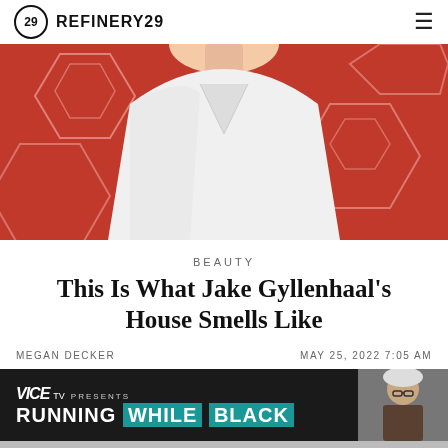REFINERY29
[Figure (photo): Man in white shirt against red hexagon-patterned background, cropped from neck to waist]
BEAUTY
This Is What Jake Gyllenhaal's House Smells Like
MEGAN DECKER    MAY 25, 2022 7:05 AM
[Figure (screenshot): VICE TV Presents: Running While Black advertisement banner with person in background]